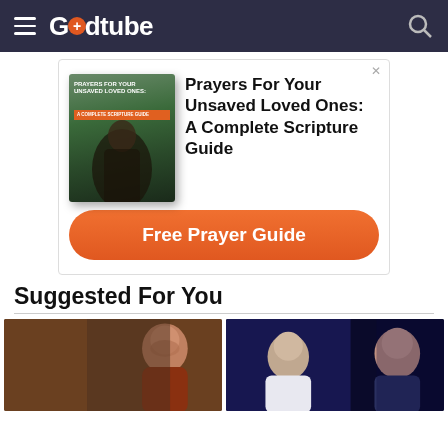Godtube
[Figure (infographic): Advertisement for 'Prayers For Your Unsaved Loved Ones: A Complete Scripture Guide' showing a book cover with mountain background and a 'Free Prayer Guide' orange call-to-action button]
Suggested For You
[Figure (photo): Left video thumbnail showing a bearded man in medieval/historical costume, profile view]
[Figure (photo): Right video thumbnail showing two people, a man and a woman, appearing to be in a TV show or competition context with blue/dark background]